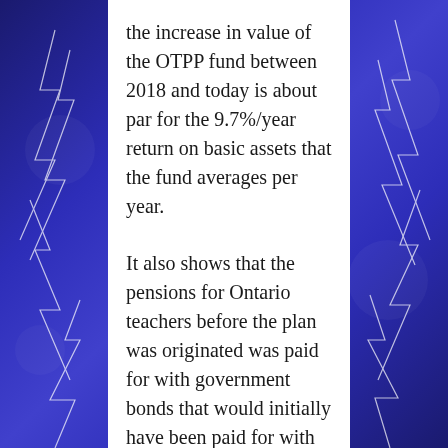the increase in value of the OTPP fund between 2018 and today is about par for the 9.7%/year return on basic assets that the fund averages per year.
It also shows that the pensions for Ontario teachers before the plan was originated was paid for with government bonds that would initially have been paid for with taxpayer funds, but that the fund is now maintained by contributions of